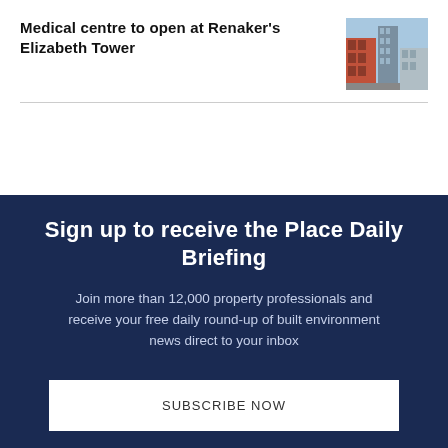Medical centre to open at Renaker's Elizabeth Tower
[Figure (photo): Photograph of a construction site or tower building exterior, showing red/brick elements and urban background with blue sky]
Sign up to receive the Place Daily Briefing
Join more than 12,000 property professionals and receive your free daily round-up of built environment news direct to your inbox
SUBSCRIBE NOW